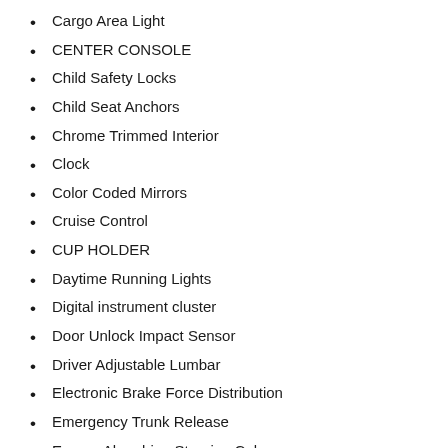Cargo Area Light
CENTER CONSOLE
Child Safety Locks
Child Seat Anchors
Chrome Trimmed Interior
Clock
Color Coded Mirrors
Cruise Control
CUP HOLDER
Daytime Running Lights
Digital instrument cluster
Door Unlock Impact Sensor
Driver Adjustable Lumbar
Electronic Brake Force Distribution
Emergency Trunk Release
Energy Absorbing Steering Column
Engine Immobilizer
Floor Mats